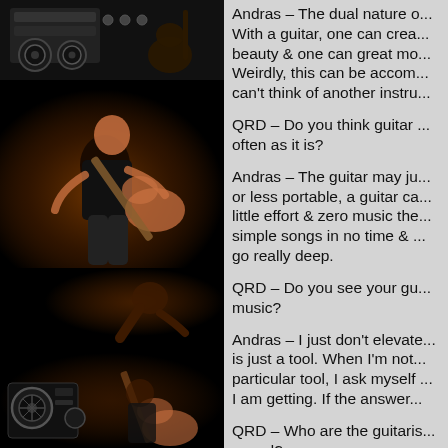[Figure (photo): Dark photo strip on left half: top segment shows audio equipment/reel-to-reel and guitar in background; middle large segment shows a musician playing guitar on a dark stage lit with warm orange light; lower segment shows another performer in dim light; bottom segment shows reel-to-reel tape machine and performer with guitar.]
Andras – The dual nature o... With a guitar, one can crea... beauty & one can great mo... Weirdly, this can be accom... can't think of another instru...
QRD – Do you think guitar ... often as it is?
Andras – The guitar may ju... or less portable, a guitar ca... little effort & zero music the... simple songs in no time & ... go really deep.
QRD – Do you see your gu... music?
Andras – I just don't elevate... is just a tool. When I'm not... particular tool, I ask myself... I am getting. If the answer...
QRD – Who are the guitaris... sound?